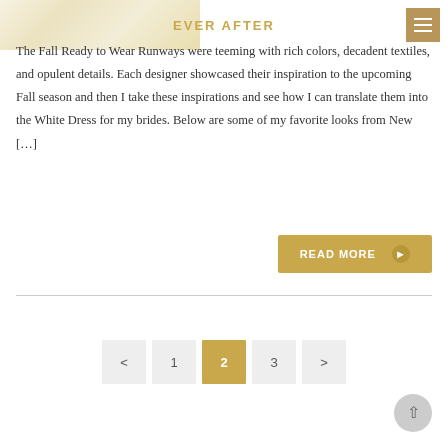EVER AFTER
The Fall Ready to Wear Runways were teeming with rich colors, decadent textiles, and opulent details. Each designer showcased their inspiration to the upcoming Fall season and then I take these inspirations and see how I can translate them into the White Dress for my brides. Below are some of my favorite looks from New [...]
[Figure (other): READ MORE button with gold background and right arrow]
[Figure (other): Pagination controls showing pages 1, 2 (active/current), 3 with previous and next arrows]
[Figure (other): Back to top button, circular grey button with upward arrow]